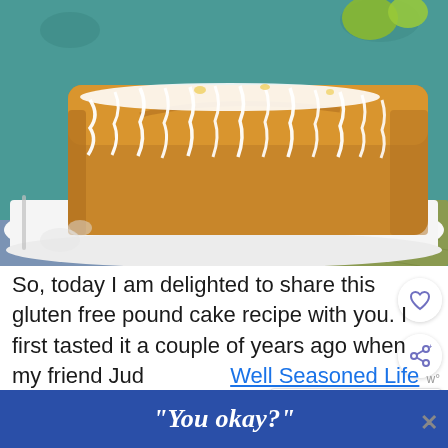[Figure (photo): A glazed lemon pound cake loaf with white icing drizzled on top, sitting on a white rectangular plate, with teal fabric and a green napkin in the background.]
So, today I am delighted to share this gluten free pound cake recipe with you. I first tasted it a couple of years ago when my friend Judi [Well Seasoned Life] had brought a Lemon Pound Cake to a video shoot that a group of us were d... a...
[Figure (other): WHAT'S NEXT popup with an image of a Gluten Free Orange cake thumbnail and text 'Gluten Free Orange Cak...']
"You okay?"